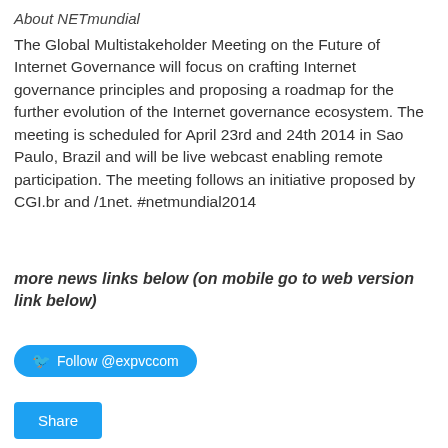About NETmundial
The Global Multistakeholder Meeting on the Future of Internet Governance will focus on crafting Internet governance principles and proposing a roadmap for the further evolution of the Internet governance ecosystem. The meeting is scheduled for April 23rd and 24th 2014 in Sao Paulo, Brazil and will be live webcast enabling remote participation. The meeting follows an initiative proposed by CGI.br and /1net. #netmundial2014
more news links below (on mobile go to web version link below)
[Figure (other): Twitter Follow button with bird icon: Follow @expvccom]
[Figure (other): Share button in blue]